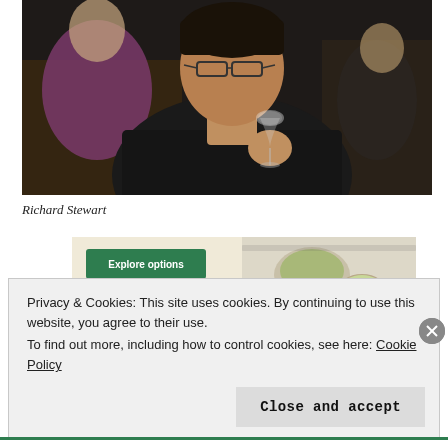[Figure (photo): A man wearing glasses holding and sipping from a wine glass at what appears to be a wine tasting event. Other people visible in the background. Dark indoor setting.]
Richard Stewart
[Figure (screenshot): Advertisement banner showing 'Explore options' green button on a light beige background with food photos (bowls of food) on the right side, and a circular icon at lower left.]
Privacy & Cookies: This site uses cookies. By continuing to use this website, you agree to their use.
To find out more, including how to control cookies, see here: Cookie Policy
Close and accept